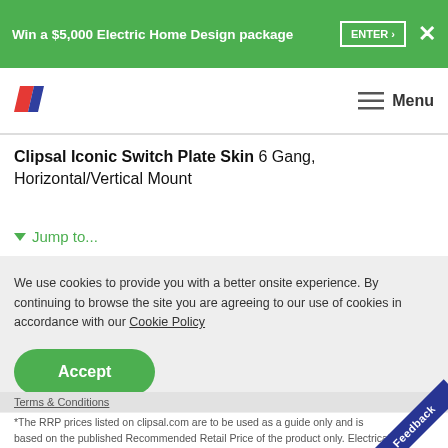Win a $5,000 Electric Home Design package  ENTER ›   ✕
[Figure (logo): Clipsal brand logo — two diagonal parallelogram shapes in red and dark blue/purple]
Menu
Clipsal Iconic Switch Plate Skin 6 Gang, Horizontal/Vertical Mount
▼ Jump to...
We use cookies to provide you with a better onsite experience. By continuing to browse the site you are agreeing to our use of cookies in accordance with our Cookie Policy
Accept
Terms & Conditions
*The RRP prices listed on clipsal.com are to be used as a guide only and is based on the published Recommended Retail Price of the product only. Electrical contractors or building companies are not bound to follow